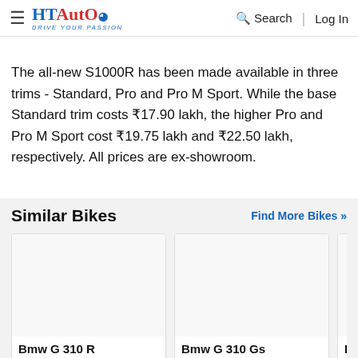HT Auto – Drive Your Passion | Search | Log In
The all-new S1000R has been made available in three trims - Standard, Pro and Pro M Sport. While the base Standard trim costs ₹17.90 lakh, the higher Pro and Pro M Sport cost ₹19.75 lakh and ₹22.50 lakh, respectively. All prices are ex-showroom.
Similar Bikes
[Figure (other): Bmw G 310 R bike card thumbnail placeholder]
Bmw G 310 R
[Figure (other): Bmw G 310 Gs bike card thumbnail placeholder]
Bmw G 310 Gs
Bm...